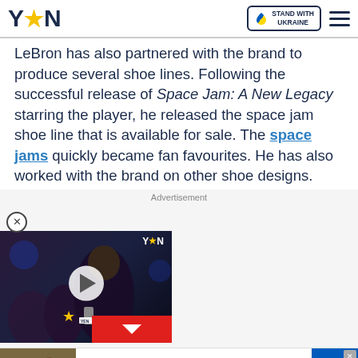YEN — Stand With Ukraine
LeBron has also partnered with the brand to produce several shoe lines. Following the successful release of Space Jam: A New Legacy starring the player, he released the space jam shoe line that is available for sale. The space jams quickly became fan favourites. He has also worked with the brand on other shoe designs.
Advertisement
[Figure (screenshot): Video player thumbnail showing a woman being interviewed at a dark venue, with YEN logo watermark, a play button overlay, and a red collapse/chevron button at the bottom.]
[Figure (infographic): Support Ukrainian Army banner ad with soldiers image on left, text 'Support Ukrainian Army - Donate to defend Ukraine and democracy', and Ukrainian flag on right with a close button.]